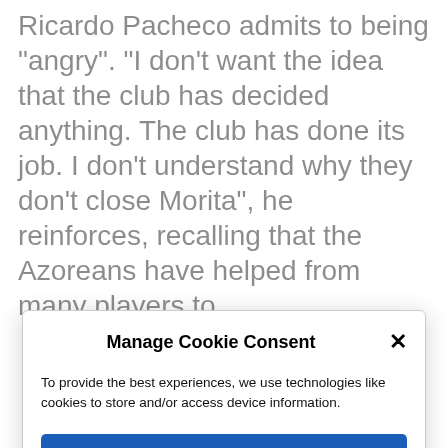Ricardo Pacheco admits to being "angry". "I don't want the idea that the club has decided anything. The club has done its job. I don't understand why they don't close Morita", he reinforces, recalling that the Azoreans have helped from many players to
Manage Cookie Consent
To provide the best experiences, we use technologies like cookies to store and/or access device information.
Accept
Deny
View preferences
Cookie Policy